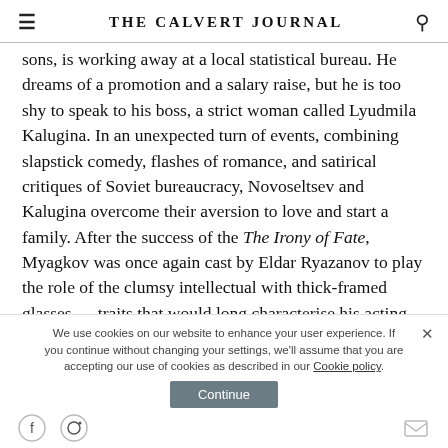THE CALVERT JOURNAL
sons, is working away at a local statistical bureau. He dreams of a promotion and a salary raise, but he is too shy to speak to his boss, a strict woman called Lyudmila Kalugina. In an unexpected turn of events, combining slapstick comedy, flashes of romance, and satirical critiques of Soviet bureaucracy, Novoseltsev and Kalugina overcome their aversion to love and start a family. After the success of the The Irony of Fate, Myagkov was once again cast by Eldar Ryazanov to play the role of the clumsy intellectual with thick-framed glasses — traits that would long characterise his acting career.
Watch on Russian Film Hub
We use cookies on our website to enhance your user experience. If you continue without changing your settings, we'll assume that you are accepting our use of cookies as described in our Cookie policy.